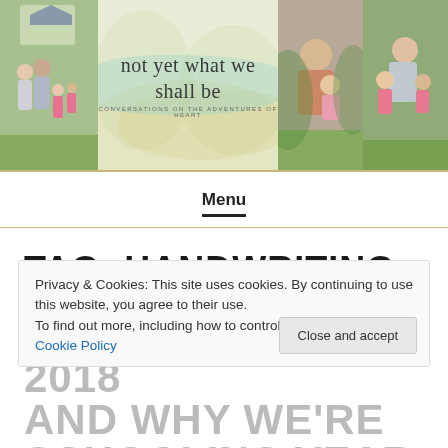[Figure (photo): Blog header banner with family photos on left and right sides, and script text 'not yet what we shall be' on watercolor background in center]
Menu
TAG: HANDWRITING
Privacy & Cookies: This site uses cookies. By continuing to use this website, you agree to their use.
To find out more, including how to control cookies, see here: Cookie Policy
Close and accept
SUMMER SCHOOL 2018 AND WHY WE'RE SCHOOLING YEAR-ROUND